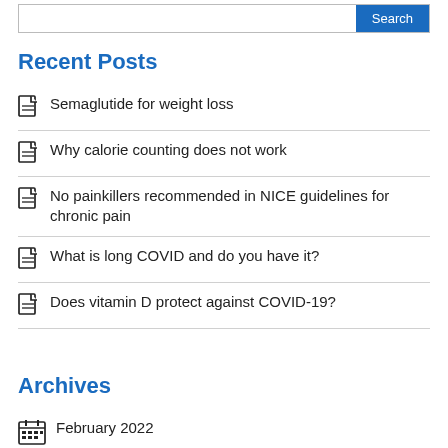Recent Posts
Semaglutide for weight loss
Why calorie counting does not work
No painkillers recommended in NICE guidelines for chronic pain
What is long COVID and do you have it?
Does vitamin D protect against COVID-19?
Archives
February 2022
December 2021